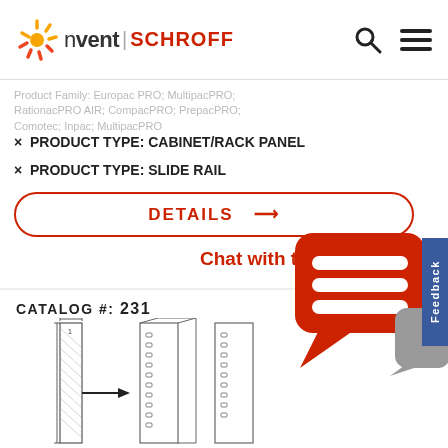[Figure (logo): nVent SCHROFF logo with sunburst icon and search/menu icons in header]
Product Family: Europac PRO; MultipacPRO; RationacPRO AIR; CompacPRO; PrepacPRO; Comotec; Inpac; MultipacPRO
× PRODUCT TYPE: CABINET/RACK PANEL
× PRODUCT TYPE: SLIDE RAIL
DETAILS →
Chat with the team
CATALOG #: 231
[Figure (engineering-diagram): Engineering diagram showing rack slide rail components with arrows indicating assembly]